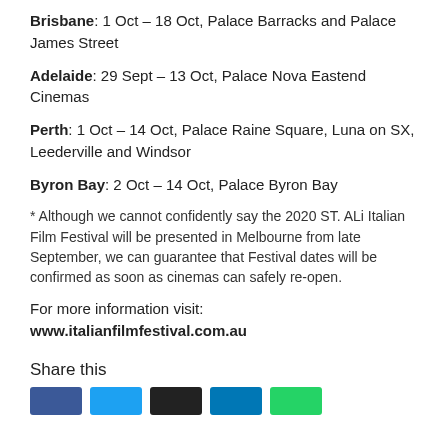Brisbane: 1 Oct – 18 Oct, Palace Barracks and Palace James Street
Adelaide: 29 Sept – 13 Oct, Palace Nova Eastend Cinemas
Perth: 1 Oct – 14 Oct, Palace Raine Square, Luna on SX, Leederville and Windsor
Byron Bay: 2 Oct – 14 Oct, Palace Byron Bay
* Although we cannot confidently say the 2020 ST. ALi Italian Film Festival will be presented in Melbourne from late September, we can guarantee that Festival dates will be confirmed as soon as cinemas can safely re-open.
For more information visit: www.italianfilmfestival.com.au
Share this
[Figure (other): Row of five social media share buttons: Facebook (blue), Twitter (light blue), unknown (black), LinkedIn (blue), WhatsApp (green)]